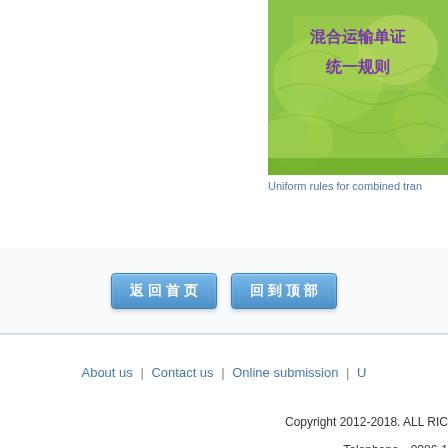[Figure (illustration): Book cover with green/yellow background showing Chinese text: 混合运输单证统一规则 (Uniform Rules for Combined Transport Documents)]
Uniform rules for combined tran
[Figure (other): Two navigation buttons in Chinese: 返回首页 (Return to Home) and 回到顶部 (Back to Top)]
About us  |  Contact us  |  Online submission  |  U
Copyright 2012-2018. ALL RIC
Telephone：0086-1
Email：tradelawchina@hot